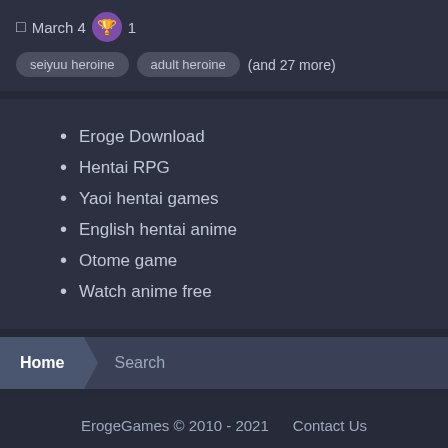March 4  1
seiyuu heroine  adult heroine  (and 27 more)
Eroge Download
Hentai RPG
Yaoi hentai games
English hentai anime
Otome game
Watch anime free
Home  Search
ErogeGames © 2010 - 2021  Contact Us